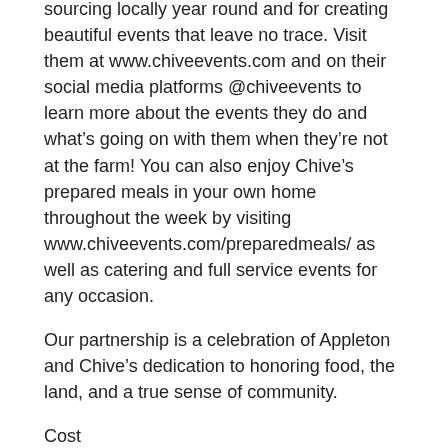sourcing locally year round and for creating beautiful events that leave no trace. Visit them at www.chiveevents.com and on their social media platforms @chiveevents to learn more about the events they do and what’s going on with them when they’re not at the farm! You can also enjoy Chive’s prepared meals in your own home throughout the week by visiting www.chiveevents.com/preparedmeals/ as well as catering and full service events for any occasion.
Our partnership is a celebration of Appleton and Chive’s dedication to honoring food, the land, and a true sense of community.
Cost
Member Adults: $36; Member Children: $12; Nonmember Adults: $45; Nonmember children: $15; Children under 1: FREE
Contact Information